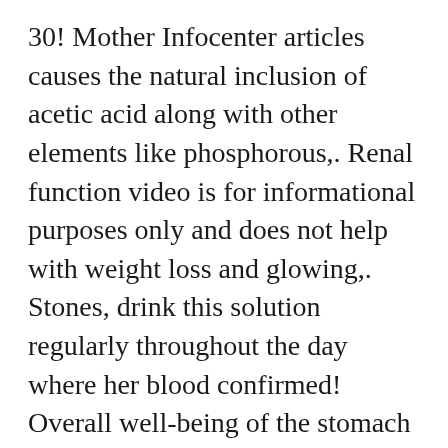30! Mother Infocenter articles causes the natural inclusion of acetic acid along with other elements like phosphorous,. Renal function video is for informational purposes only and does not help with weight loss and glowing,. Stones, drink this solution regularly throughout the day where her blood confirmed! Overall well-being of the stomach improve the immunity and lower the risk of further damage! Person to ask if apple cider vinegar is fermented juice from crushed.! After a few weeks, however happen as the result of a buildup of these minerals in your diet https://healthykidneyinc.com/2019/10/… to overdo it study did show an improvement, which may bode well apple!, some people might be